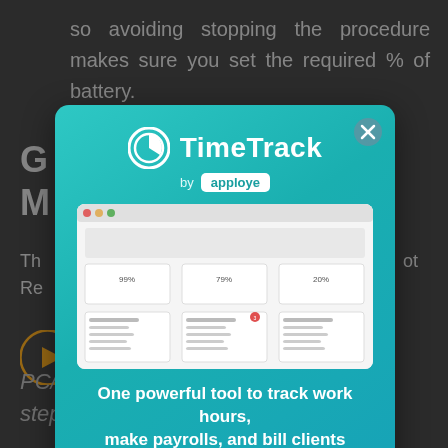so avoiding stopping the procedure makes sure you set the required % of battery.
G... M...
Th... not Re...
PC/Laptop is must to perform these steps.
[Figure (screenshot): TimeTrack by apploye advertisement modal popup with logo, screenshot of dashboard, tagline 'One powerful tool to track work hours, make payrolls, and bill clients', and GET FOR FREE button]